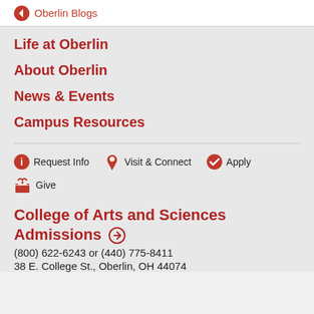← Oberlin Blogs
Life at Oberlin
About Oberlin
News & Events
Campus Resources
🔵 Request Info   📍 Visit & Connect   ✅ Apply
🎁 Give
College of Arts and Sciences Admissions →
(800) 622-6243 or (440) 775-8411
38 E. College St., Oberlin, OH 44074